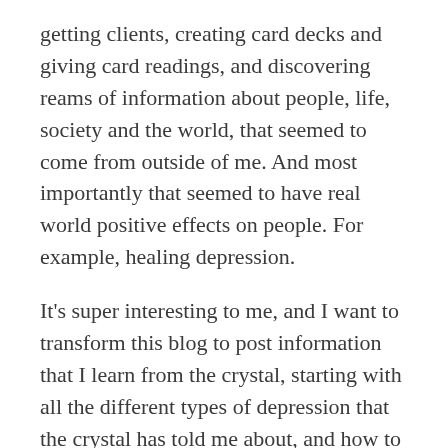getting clients, creating card decks and giving card readings, and discovering reams of information about people, life, society and the world, that seemed to come from outside of me. And most importantly that seemed to have real world positive effects on people. For example, healing depression.
It's super interesting to me, and I want to transform this blog to post information that I learn from the crystal, starting with all the different types of depression that the crystal has told me about, and how to heal them.
The new content from the crystal will be on things like; mental, emotional & spiritual health, spirituality, shamanic healing, esotericism, psychedelics, dreams, psychology, mysticism, wisdom, meaning, self-awareness, self-development, self-